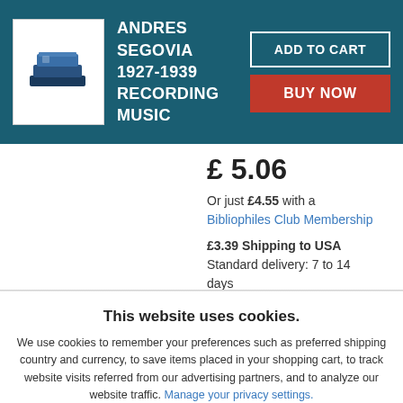ANDRES SEGOVIA 1927-1939 RECORDING MUSIC
£ 5.06
Or just £4.55 with a Bibliophiles Club Membership
£3.39 Shipping to USA Standard delivery: 7 to 14 days More Shipping Options
This website uses cookies.
We use cookies to remember your preferences such as preferred shipping country and currency, to save items placed in your shopping cart, to track website visits referred from our advertising partners, and to analyze our website traffic. Manage your privacy settings.
AGREE AND CLOSE